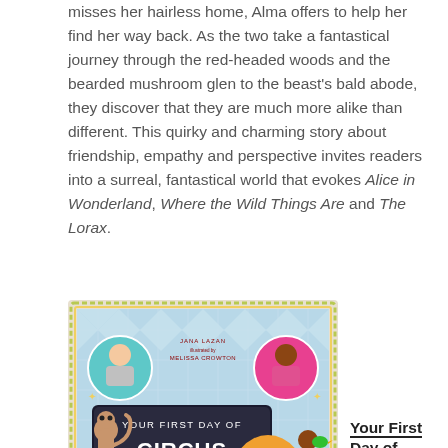misses her hairless home, Alma offers to help her find her way back. As the two take a fantastical journey through the red-headed woods and the bearded mushroom glen to the beast's bald abode, they discover that they are much more alike than different. This quirky and charming story about friendship, empathy and perspective invites readers into a surreal, fantastical world that evokes Alice in Wonderland, Where the Wild Things Are and The Lorax.
[Figure (illustration): Book cover of 'Your First Day of Circus School' by Jana Lazan, illustrated by Melissa Crowton. Features colorful circus-themed illustrations with tigers, performers, and circus equipment on a blue and white diamond pattern background.]
Your First Day of